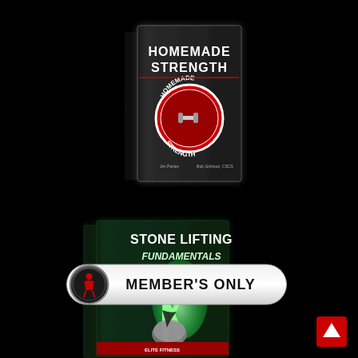[Figure (photo): Book cover for Homemade Strength - black cover with red and white Homemade Strength logo/badge, displayed at an angle with a glow effect]
[Figure (photo): DVD/book cover for Stone Lifting Fundamentals - green cover showing an athlete bending over a stone, displayed at an angle with a glow effect]
[Figure (other): Member's Only button - white pill-shaped button with bold black text MEMBER'S ONLY and a dark circular icon with red figure on the left]
[Figure (other): Red scroll-to-top button with white upward arrow in bottom right corner]